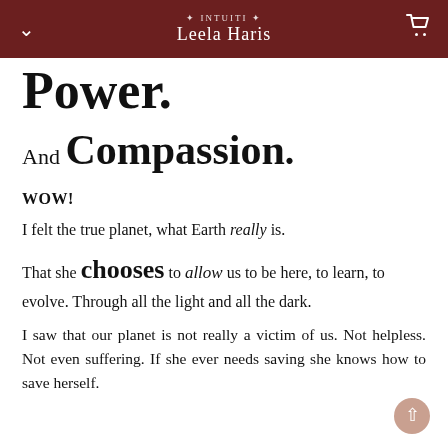Leela Haris
Power.
And Compassion.
WOW!
I felt the true planet, what Earth really is.
That she chooses to allow us to be here, to learn, to evolve. Through all the light and all the dark.
I saw that our planet is not really a victim of us. Not helpless. Not even suffering. If she ever needs saving she knows how to save herself.